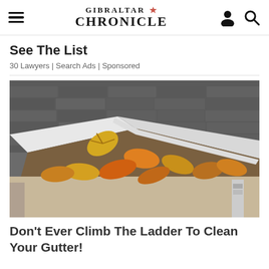GIBRALTAR CHRONICLE
See The List
30 Lawyers | Search Ads | Sponsored
[Figure (photo): Autumn leaves accumulated in a house roof gutter at a corner joint, with grey asphalt shingles visible above and white fascia/gutter below.]
Don't Ever Climb The Ladder To Clean Your Gutter!